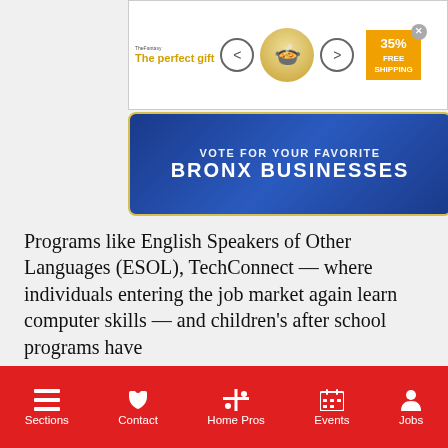[Figure (screenshot): Top advertisement banner showing 'The perfect gift' with a bowl image, navigation arrows, and '35% FREE SHIPPING' badge]
[Figure (screenshot): Blue banner with text 'VOTE FOR YOUR FAVORITE BRONX BUSINESSES']
Programs like English Speakers of Other Languages (ESOL), TechConnect — where individuals entering the job market again learn computer skills — and children's after school programs have
[Figure (screenshot): Video popup overlay showing 'U.S. Stocks Close Near Session Lows to ...' with a stock trading floor video thumbnail showing a trader and stock monitors with CITADEL Securities branding]
the top-ten circulating ll experiences a 67% e in circulation.
ughout the three main k Public Library,
Sections  Contact  Home Pros  Events  Jobs